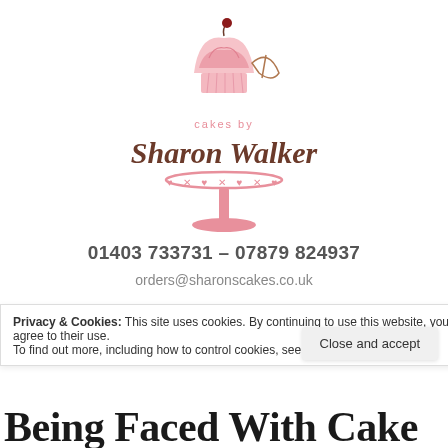[Figure (logo): Cakes by Sharon Walker logo — a pink cake stand with cupcake and cherry on top, decorative whisk, script text reading 'cakes by Sharon Walker', pink decorative border]
01403 733731 – 07879 824937
orders@sharonscakes.co.uk
[Figure (other): Four pink circular social media icon buttons: email, Facebook, Instagram, Twitter]
Privacy & Cookies: This site uses cookies. By continuing to use this website, you agree to their use.
To find out more, including how to control cookies, see here: Cookie Policy
Close and accept
Being Faced With Cake